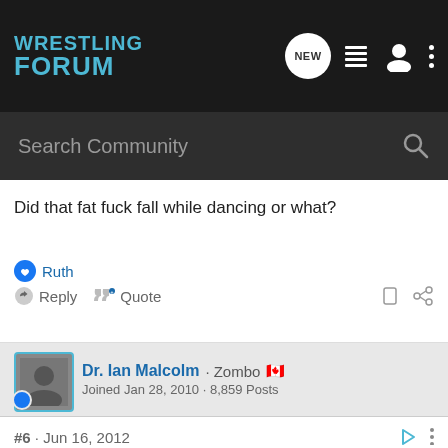WRESTLING FORUM
Search Community
Did that fat fuck fall while dancing or what?
Ruth
Reply  Quote
Dr. Ian Malcolm · Zombo 🇨🇦
Joined Jan 28, 2010 · 8,859 Posts
#6 · Jun 16, 2012
Maybe some live crowds are sick at his long-ass entrance and they don't want people turning on him before the start of